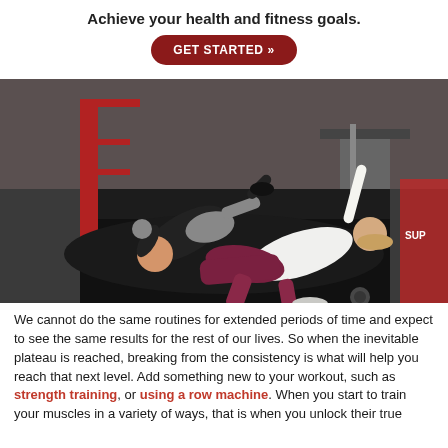Achieve your health and fitness goals.
GET STARTED »
[Figure (photo): Two people exercising in a gym on black floor mats. One person in a black shirt and grey shorts is doing a side plank with a weight, and a woman in maroon leggings and white top is in a similar position with her arm raised. Red gym equipment visible in the background.]
We cannot do the same routines for extended periods of time and expect to see the same results for the rest of our lives. So when the inevitable plateau is reached, breaking from the consistency is what will help you reach that next level. Add something new to your workout, such as strength training, or using a row machine. When you start to train your muscles in a variety of ways, that is when you unlock their true